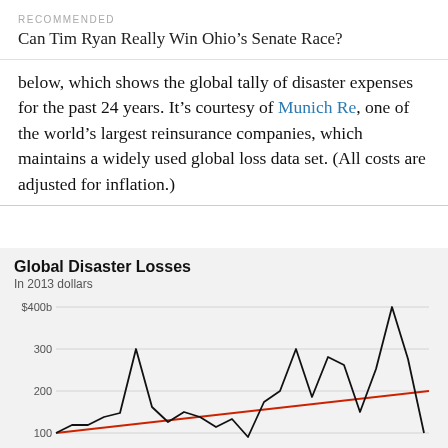RECOMMENDED
Can Tim Ryan Really Win Ohio's Senate Race?
below, which shows the global tally of disaster expenses for the past 24 years. It's courtesy of Munich Re, one of the world's largest reinsurance companies, which maintains a widely used global loss data set. (All costs are adjusted for inflation.)
[Figure (line-chart): Line chart showing global disaster losses from approximately 1990 to 2013 in 2013 dollars. A jagged black line shows annual totals with peaks around 350b (mid-period), 260b, 230b, and a spike near 400b near 2011. A red trend line rises from about 100b to 180b indicating an upward trend over the period.]